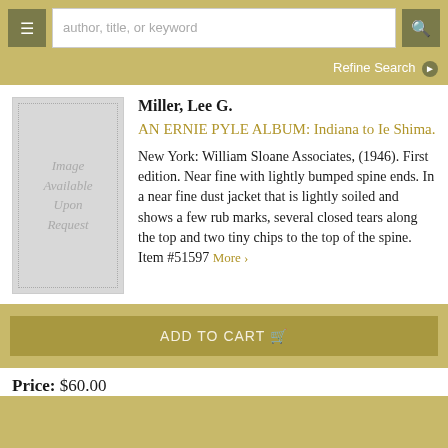author, title, or keyword
Refine Search
[Figure (illustration): Book image placeholder reading 'Image Available Upon Request']
Miller, Lee G.
AN ERNIE PYLE ALBUM: Indiana to Ie Shima.
New York: William Sloane Associates, (1946). First edition. Near fine with lightly bumped spine ends. In a near fine dust jacket that is lightly soiled and shows a few rub marks, several closed tears along the top and two tiny chips to the top of the spine. Item #51597 More ›
ADD TO CART
Price: $60.00